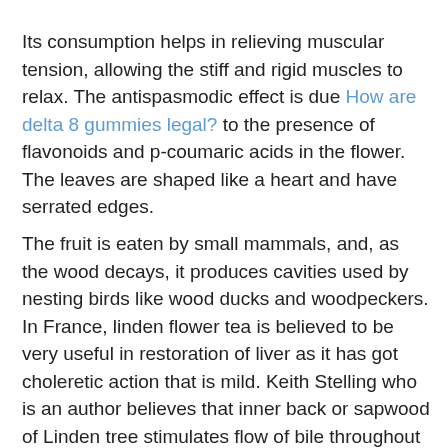Its consumption helps in relieving muscular tension, allowing the stiff and rigid muscles to relax. The antispasmodic effect is due How are delta 8 gummies legal? to the presence of flavonoids and p-coumaric acids in the flower. The leaves are shaped like a heart and have serrated edges.
The fruit is eaten by small mammals, and, as the wood decays, it produces cavities used by nesting birds like wood ducks and woodpeckers. In France, linden flower tea is believed to be very useful in restoration of liver as it has got choleretic action that is mild. Keith Stelling who is an author believes that inner back or sapwood of Linden tree stimulates flow of bile throughout your liver. In this way, liver drainage takes place which is non-aggressive.